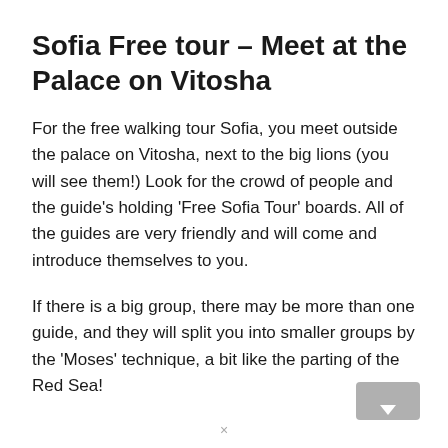Sofia Free tour – Meet at the Palace on Vitosha
For the free walking tour Sofia, you meet outside the palace on Vitosha, next to the big lions (you will see them!) Look for the crowd of people and the guide's holding 'Free Sofia Tour' boards. All of the guides are very friendly and will come and introduce themselves to you.
If there is a big group, there may be more than one guide, and they will split you into smaller groups by the 'Moses' technique, a bit like the parting of the Red Sea!